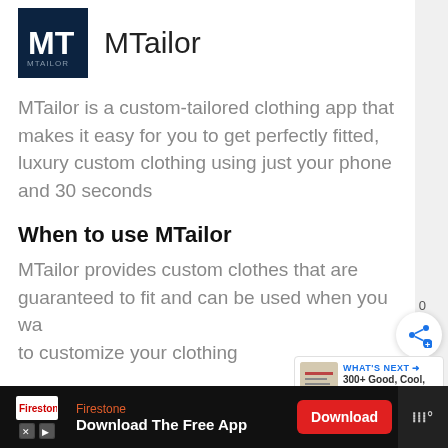[Figure (logo): MTailor app logo — white 'MT' letters on dark navy background square]
MTailor
MTailor is a custom-tailored clothing app that makes it easy for you to get perfectly fitted, luxury custom clothing using just your phone and 30 seconds
When to use MTailor
MTailor provides custom clothes that are guaranteed to fit and can be used when you wa to customize your clothing
See Alternatives to MTailor →
See MTailor's Competitors →
[Figure (infographic): WHAT'S NEXT → 300+ Good, Cool, Funny,... sidebar widget with small book cover thumbnail]
Firestone Download The Free App Download